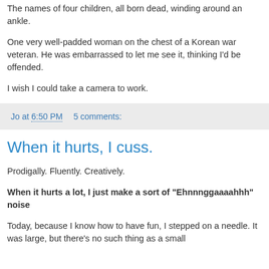The names of four children, all born dead, winding around an ankle.
One very well-padded woman on the chest of a Korean war veteran. He was embarrassed to let me see it, thinking I'd be offended.
I wish I could take a camera to work.
Jo at 6:50 PM    5 comments:
When it hurts, I cuss.
Prodigally. Fluently. Creatively.
When it hurts a lot, I just make a sort of "Ehnnnggaaaahhh" noise
Today, because I know how to have fun, I stepped on a needle. It was large, but there's no such thing as a small